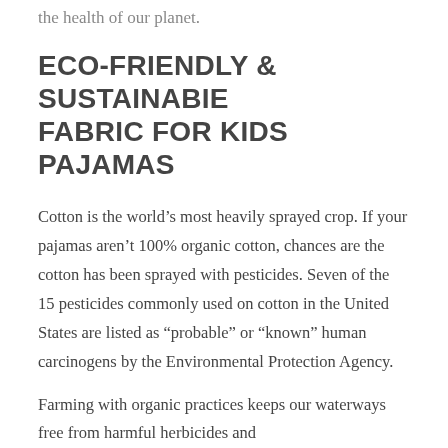the health of our planet.
ECO-FRIENDLY & SUSTAINABIE FABRIC FOR KIDS PAJAMAS
Cotton is the world’s most heavily sprayed crop. If your pajamas aren’t 100% organic cotton, chances are the cotton has been sprayed with pesticides. Seven of the 15 pesticides commonly used on cotton in the United States are listed as “probable” or “known” human carcinogens by the Environmental Protection Agency.
Farming with organic practices keeps our waterways free from harmful herbicides and